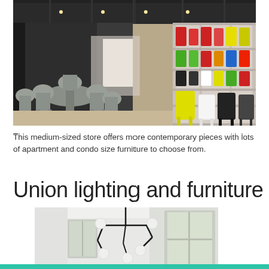[Figure (photo): Interior of a furniture store showroom with grey dining chairs and tables on the left, and a large shelving unit on the right displaying colorful chairs in red, yellow, green, white, and black against a dark mural wall]
This medium-sized store offers more contemporary pieces with lots of apartment and condo size furniture to choose from.
Union lighting and furniture
[Figure (photo): Interior of a bright room with white walls and windows, featuring a modern black sculptural pendant light fixture with globe bulbs hanging from the ceiling]